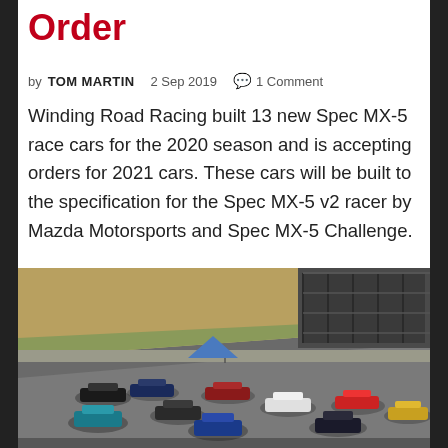Order
by TOM MARTIN  2 Sep 2019  💬 1 Comment
Winding Road Racing built 13 new Spec MX-5 race cars for the 2020 season and is accepting orders for 2021 cars. These cars will be built to the specification for the Spec MX-5 v2 racer by Mazda Motorsports and Spec MX-5 Challenge.
[Figure (photo): Multiple Spec MX-5 race cars racing on a track, with grandstand structure visible in background, aerial/elevated view of corner with cars in formation.]